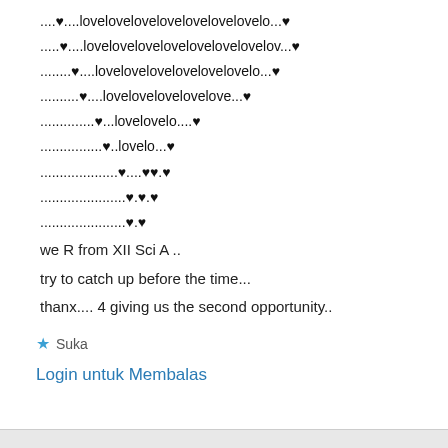....♥....lovelovelovelovelovelovelovelo...♥
.....♥....lovelovelovelovelovelovelovelov...♥
........♥....lovelovelovelovelovelovelo...♥
..........♥....lovelovelovelovelove...♥
..............♥...lovelovelo....♥
................♥..lovelo...♥
....................♥....♥♥.♥
......................♥.♥.♥
......................♥.♥
we R from XII Sci A ..
try to catch up before the time...
thanx.... 4 giving us the second opportunity..
★ Suka
Login untuk Membalas